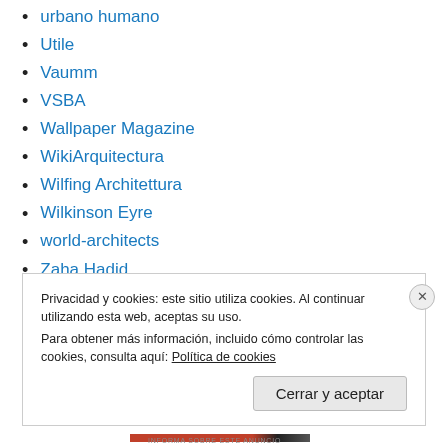urbano humano
Utile
Vaumm
VSBA
Wallpaper Magazine
WikiArquitectura
Wilfing Architettura
Wilkinson Eyre
world-architects
Zaha Hadid
Privacidad y cookies: este sitio utiliza cookies. Al continuar utilizando esta web, aceptas su uso.
Para obtener más información, incluido cómo controlar las cookies, consulta aquí: Política de cookies
INFORMA SOBRE ESTE ANUNCIO